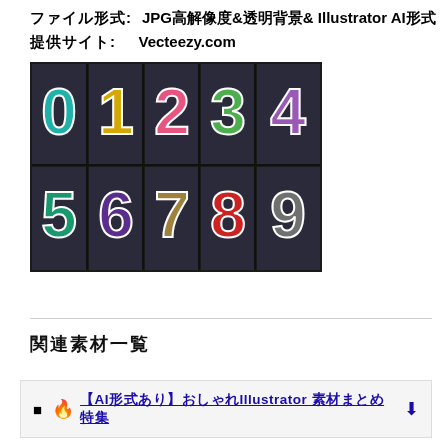ファイル形式: JPG高解像度&透明背景& Illustrator AI形式
提供サイト: Vecteezy.com
[Figure (illustration): Grid of colorful decorative number tiles 0-9 on dark dotted backgrounds, arranged in two rows of 5. Top row: 0 (teal/cyan), 1 (gold/yellow), 2 (pink), 3 (green), 4 (purple). Bottom row: 5 (teal/green), 6 (purple), 7 (brown/tan), 8 (red), 9 (gray).]
関連素材一覧
🔥 【AI形式あり】おしゃれIllustrator 素材まとめ特集 ⬇